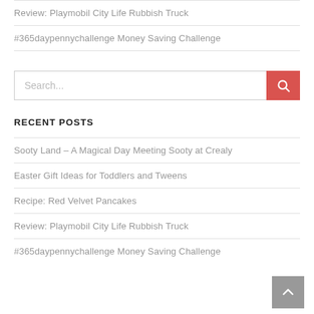Review: Playmobil City Life Rubbish Truck
#365daypennychallenge Money Saving Challenge
Search...
RECENT POSTS
Sooty Land – A Magical Day Meeting Sooty at Crealy
Easter Gift Ideas for Toddlers and Tweens
Recipe: Red Velvet Pancakes
Review: Playmobil City Life Rubbish Truck
#365daypennychallenge Money Saving Challenge